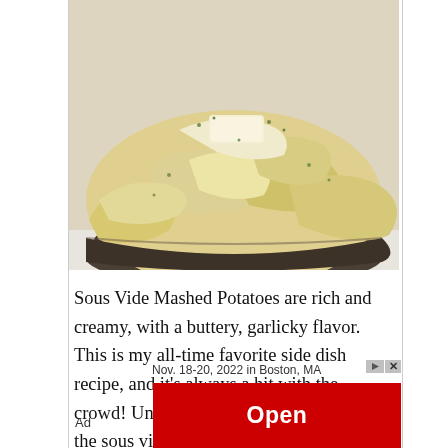[Figure (photo): A dark bowl filled with creamy mashed potatoes topped with a pat of butter and garnished with chopped chives, photographed from above at a slight angle on a white background.]
Sous Vide Mashed Potatoes are rich and creamy, with a buttery, garlicky flavor. This is my all-time favorite side dish recipe, and it's always a hit with the crowd! Unlike boiling potatoes in water, the sous vide method yields
Nov. 18-20, 2022 in Boston, MA
Ad
[Figure (infographic): Red advertisement banner with white text reading 'Open' and small ad control icons (play/close).]